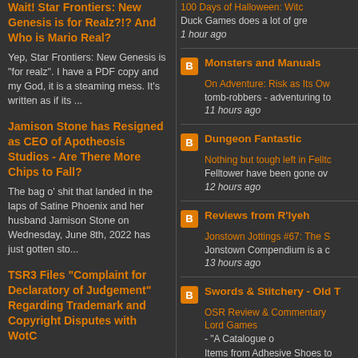Wait! Star Frontiers: New Genesis is for Realz?!? And Who is Mario Real?
Yep, Star Frontiers: New Genesis is "for realz". I have a PDF copy and my God, it is a steaming mess. It's written as if its ...
Jamison Stone has Resigned as CEO of Apotheosis Studios - Are There More Chips to Fall?
The bag o' shit that landed in the laps of Satine Phoenix and her husband Jamison Stone on Wednesday, June 8th, 2022 has just gotten sto...
TSR3 Files "Complaint for Declaratory of Judgement" Regarding Trademark and Copyright Disputes with WotC
100 Days of Halloween: Witc
Duck Games does a lot of gre
1 hour ago
Monsters and Manuals
On Adventure: Risk as Its Ow
tomb-robbers - adventuring to
11 hours ago
Dungeon Fantastic
Nothing but tough left in Felltc
Felltower have been gone ov
12 hours ago
Reviews from R'lyeh
Jonstown Jottings #67: The S
Jonstown Compendium is a c
13 hours ago
Swords & Stitchery - Old T
OSR Review & Commentary
Lord Games - "A Catalogue o
Items from Adhesive Shoes to
14 hours ago
Halls of the Nephilim
Music Monday - All For One -
the flip side of that coin. Toda
14 hours ago